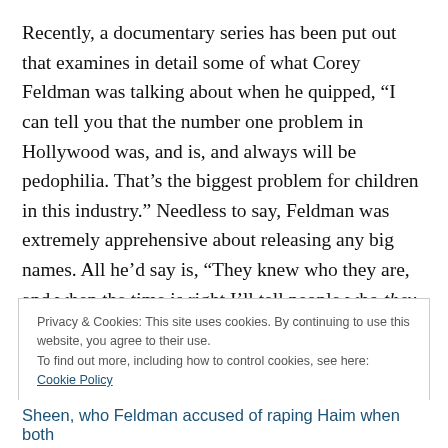Recently, a documentary series has been put out that examines in detail some of what Corey Feldman was talking about when he quipped, “I can tell you that the number one problem in Hollywood was, and is, and always will be pedophilia. That’s the biggest problem for children in this industry.” Needless to say, Feldman was extremely apprehensive about releasing any big names. All he’d say is, “They knew who they are, and when the time is right I’ll tell people who they are.” Well, there’s no time quite like the present. So, do tell I say. Since his
Privacy & Cookies: This site uses cookies. By continuing to use this website, you agree to their use.
To find out more, including how to control cookies, see here: Cookie Policy
Close and accept
Sheen, who Feldman accused of raping Haim when both